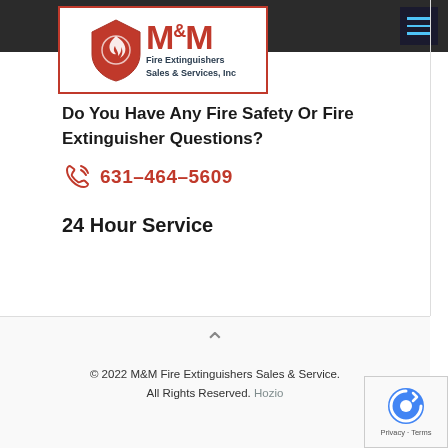[Figure (logo): M&M Fire Extinguishers Sales & Services, Inc logo with red shield and flame icon]
Do You Have Any Fire Safety Or Fire Extinguisher Questions?
631-464-5609
24 Hour Service
© 2022 M&M Fire Extinguishers Sales & Service. All Rights Reserved. Hozio